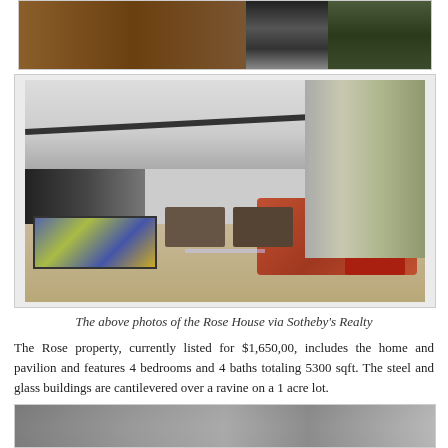[Figure (photo): Interior hallway photo of Rose House showing wood paneling and corridor]
[Figure (photo): Interior living room photo of Rose House showing large glass walls, open floor plan with orange sofas, patterned rug, and forest views]
The above photos of the Rose House via Sotheby's Realty
The Rose property, currently listed for $1,650,00, includes the home and pavilion and features 4 bedrooms and 4 baths totaling 5300 sqft. The steel and glass buildings are cantilevered over a ravine on a 1 acre lot.
[Figure (photo): Black and white exterior photo of Rose House partially visible at bottom of page]